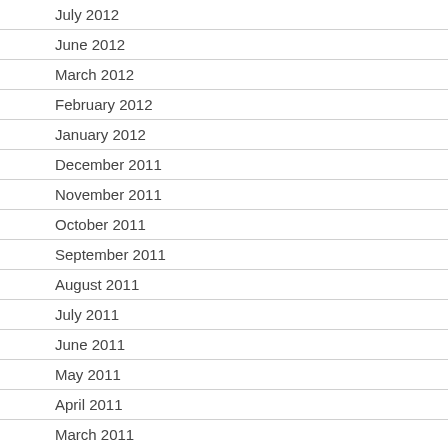July 2012
June 2012
March 2012
February 2012
January 2012
December 2011
November 2011
October 2011
September 2011
August 2011
July 2011
June 2011
May 2011
April 2011
March 2011
February 2011
January 2011
December 2010
November 2010